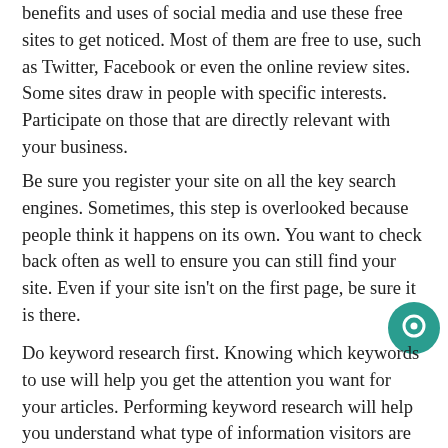benefits and uses of social media and use these free sites to get noticed. Most of them are free to use, such as Twitter, Facebook or even the online review sites. Some sites draw in people with specific interests. Participate on those that are directly relevant with your business.
Be sure you register your site on all the key search engines. Sometimes, this step is overlooked because people think it happens on its own. You want to check back often as well to ensure you can still find your site. Even if your site isn't on the first page, be sure it is there.
Do keyword research first. Knowing which keywords to use will help you get the attention you want for your articles. Performing keyword research will help you understand what type of information visitors are trying to get from you. Using these phrases across your site will make your site's rankings skyrocket.